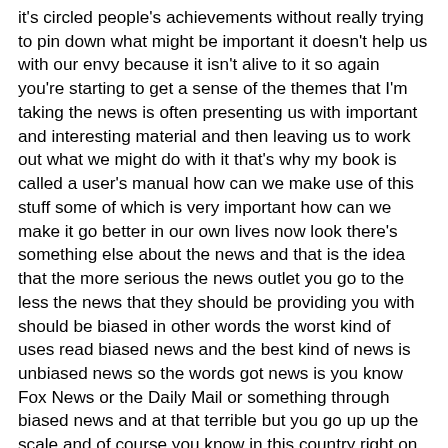it's circled people's achievements without really trying to pin down what might be important it doesn't help us with our envy because it isn't alive to it so again you're starting to get a sense of the themes that I'm taking the news is often presenting us with important and interesting material and then leaving us to work out what we might do with it that's why my book is called a user's manual how can we make use of this stuff some of which is very important how can we make it go better in our own lives now look there's something else about the news and that is the idea that the more serious the news outlet you go to the less the news that they should be providing you with should be biased in other words the worst kind of uses read biased news and the best kind of news is unbiased news so the words got news is you know Fox News or the Daily Mail or something through biased news and at that terrible but you go up up the scale and of course you know in this country right on top of it the pile is the BBC and and this must be very good because they just present you with the information the facts and they're not trying to influence your get inside your mind or tell you what to think or anything like that they're very balanced reporting so they'll do a feature on in a genital mutilation so that someone is